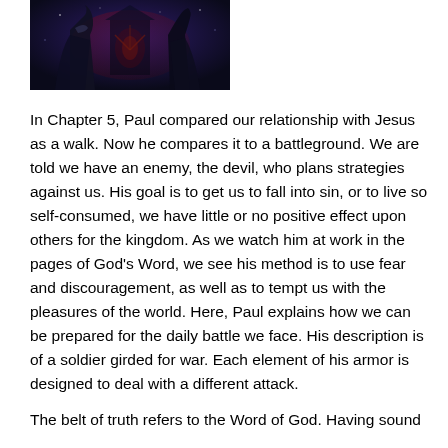[Figure (illustration): Dark fantasy illustration showing armored figures in a dramatic scene with dark blue and purple tones]
In Chapter 5, Paul compared our relationship with Jesus as a walk. Now he compares it to a battleground. We are told we have an enemy, the devil, who plans strategies against us. His goal is to get us to fall into sin, or to live so self-consumed, we have little or no positive effect upon others for the kingdom. As we watch him at work in the pages of God's Word, we see his method is to use fear and discouragement, as well as to tempt us with the pleasures of the world. Here, Paul explains how we can be prepared for the daily battle we face. His description is of a soldier girded for war. Each element of his armor is designed to deal with a different attack.
The belt of truth refers to the Word of God. Having sound